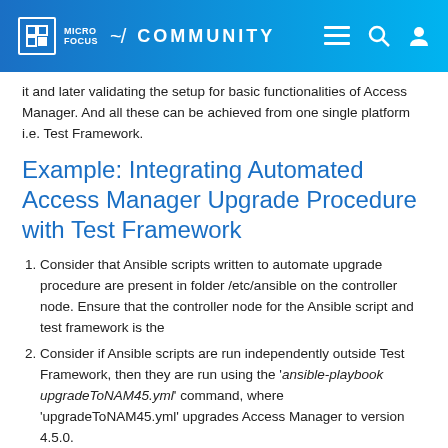MICRO FOCUS COMMUNITY
it and later validating the setup for basic functionalities of Access Manager. And all these can be achieved from one single platform i.e. Test Framework.
Example: Integrating Automated Access Manager Upgrade Procedure with Test Framework
Consider that Ansible scripts written to automate upgrade procedure are present in folder /etc/ansible on the controller node. Ensure that the controller node for the Ansible script and test framework is the
Consider if Ansible scripts are run independently outside Test Framework, then they are run using the 'ansible-playbook upgradeToNAM45.yml' command, where 'upgradeToNAM45.yml' upgrades Access Manager to version 4.5.0.
To integrate 'upgradeToNAM45.yml' with Test Framework, update the parameter 'ansibleScriptFilePath' in the input.py file as given below: